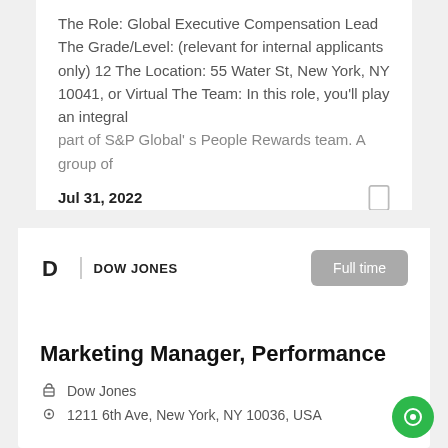The Role: Global Executive Compensation Lead The Grade/Level: (relevant for internal applicants only) 12 The Location: 55 Water St, New York, NY 10041, or Virtual The Team: In this role, you'll play an integral part of S&P Global's People Rewards team. A group of
Jul 31, 2022
DOW JONES | Full time
Marketing Manager, Performance
Dow Jones
1211 6th Ave, New York, NY 10036, USA